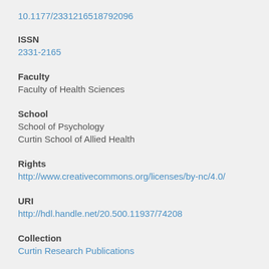10.1177/2331216518792096
ISSN
2331-2165
Faculty
Faculty of Health Sciences
School
School of Psychology
Curtin School of Allied Health
Rights
http://www.creativecommons.org/licenses/by-nc/4.0/
URI
http://hdl.handle.net/20.500.11937/74208
Collection
Curtin Research Publications